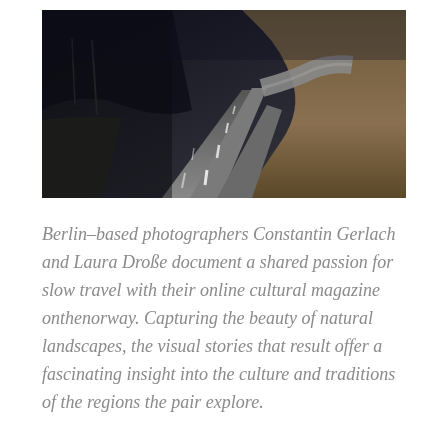[Figure (photo): A dark, moody photograph of a winding road stretching into the distance through a rocky landscape. The road curves away with white dashed center lines visible. Dark stormy sky on the left, rocky hillside on the right with warm earthy tones.]
Berlin-based photographers Constantin Gerlach and Laura Droße document a shared passion for slow travel with their online cultural magazine onthenorway. Capturing the beauty of natural landscapes, the visual stories that result offer a fascinating insight into the culture and traditions of the regions the pair explore.